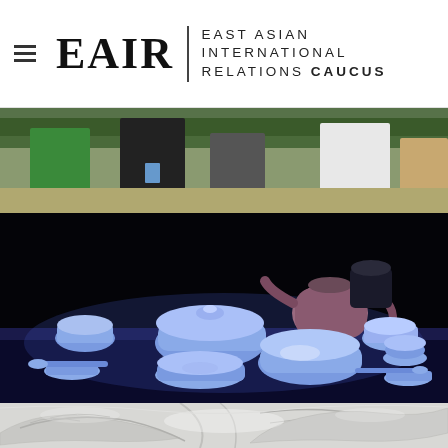EAIR | EAST ASIAN INTERNATIONAL RELATIONS CAUCUS
[Figure (photo): Cropped photo showing people standing at what appears to be a conference or exhibition; partial view of torsos and legs, one person in green, another in white.]
[Figure (photo): Photo of blue-glazed Chinese ceramic pieces displayed on a dark background, including bowls, a teapot, cups, saucers, and a ladle illuminated in blue light.]
[Figure (photo): Close-up photo of white carved ceramic or porcelain surface showing intricate relief decoration with floral or bird motifs.]